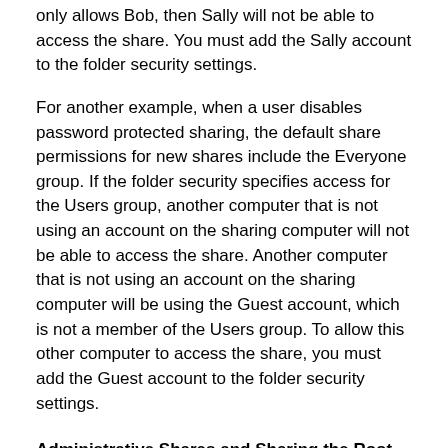only allows Bob, then Sally will not be able to access the share. You must add the Sally account to the folder security settings.
For another example, when a user disables password protected sharing, the default share permissions for new shares include the Everyone group. If the folder security specifies access for the Users group, another computer that is not using an account on the sharing computer will not be able to access the share. Another computer that is not using an account on the sharing computer will be using the Guest account, which is not a member of the Users group. To allow this other computer to access the share, you must add the Guest account to the folder security settings.
Administrative Shares and Sharing the Root of a Drive
Windows XP by default created administrative shares for